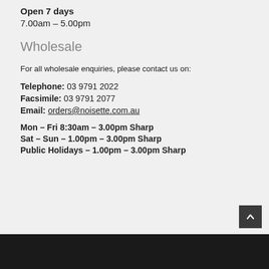Open 7 days
7.00am – 5.00pm
Wholesale
For all wholesale enquiries, please contact us on:
Telephone: 03 9791 2022
Facsimile: 03 9791 2077
Email: orders@noisette.com.au
Mon – Fri 8:30am – 3.00pm Sharp
Sat – Sun  – 1.00pm – 3.00pm Sharp
Public Holidays  – 1.00pm – 3.00pm Sharp